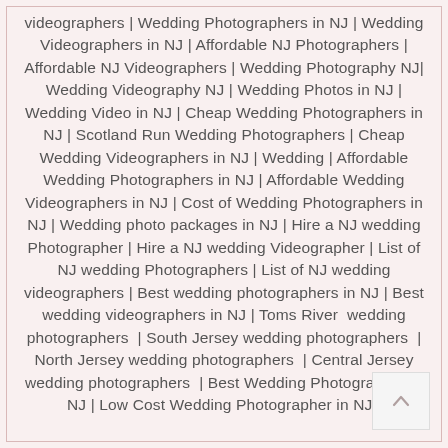videographers | Wedding Photographers in NJ | Wedding Videographers in NJ | Affordable NJ Photographers | Affordable NJ Videographers | Wedding Photography NJ| Wedding Videography NJ | Wedding Photos in NJ | Wedding Video in NJ | Cheap Wedding Photographers in NJ | Scotland Run Wedding Photographers | Cheap Wedding Videographers in NJ | Wedding | Affordable Wedding Photographers in NJ | Affordable Wedding Videographers in NJ | Cost of Wedding Photographers in NJ | Wedding photo packages in NJ | Hire a NJ wedding Photographer | Hire a NJ wedding Videographer | List of NJ wedding Photographers | List of NJ wedding videographers | Best wedding photographers in NJ | Best wedding videographers in NJ | Toms River wedding photographers | South Jersey wedding photographers | North Jersey wedding photographers | Central Jersey wedding photographers | Best Wedding Photographer in NJ | Low Cost Wedding Photographer in NJ |